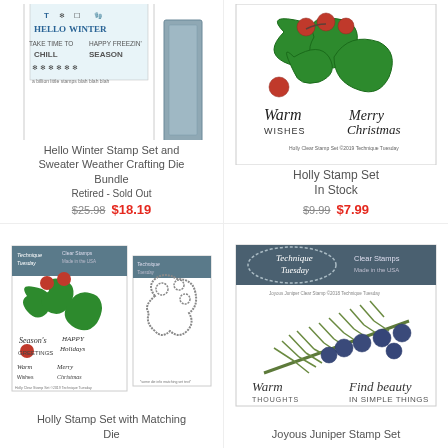[Figure (photo): Hello Winter Stamp Set and Sweater Weather Crafting Die Bundle product images showing stamp sheet with winter text/icons and a gray crafting die]
Hello Winter Stamp Set and
Sweater Weather Crafting Die
Bundle
Retired - Sold Out
$25.98  $18.19
[Figure (photo): Holly Stamp Set product image showing holly leaves, red berries with 'Warm Wishes' and 'Merry Christmas' text, Technique Tuesday branding]
Holly Stamp Set
In Stock
$9.99  $7.99
[Figure (photo): Holly Stamp Set with Matching Die product images - two packages showing holly stamp card and outline die cut]
Holly Stamp Set with Matching
Die
[Figure (photo): Joyous Juniper Stamp Set product image showing juniper branch with dark blue berries, 'Warm Thoughts' and 'Find beauty In Simple Things' text, Technique Tuesday branding]
Joyous Juniper Stamp Set